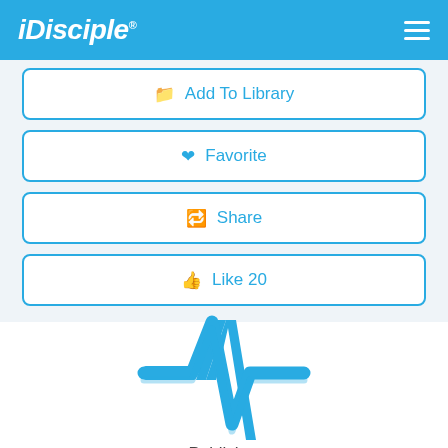iDisciple
Add To Library
Favorite
Share
Like 20
[Figure (logo): iDisciple app heartbeat/pulse logo icon in blue]
Publisher